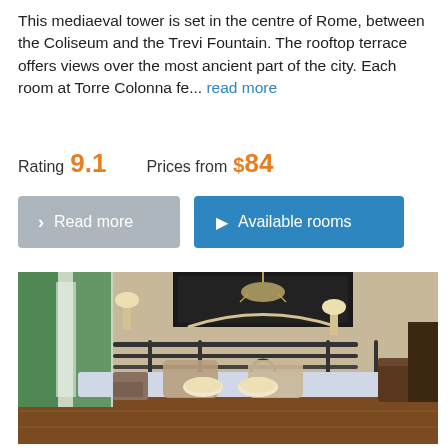This mediaeval tower is set in the centre of Rome, between the Coliseum and the Trevi Fountain. The rooftop terrace offers views over the most ancient part of the city. Each room at Torre Colonna fe... read more
Rating 9.1    Prices from $84
> Read more   Available rooms
[Figure (photo): Hotel bedroom with wrought iron headboard, two bedside lamps, green drapes on left window, decorative chandelier painting above headboard, blue and white bedding with decorative pillows, rolled towels on bed, wooden floor.]